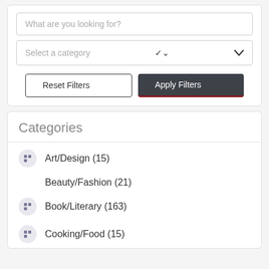What are you looking for?
Select a category
Reset Filters
Apply Filters
Categories
Art/Design (15)
Beauty/Fashion (21)
Book/Literary (163)
Cooking/Food (15)